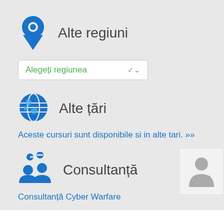Alte regiuni
[Figure (screenshot): Dropdown selector labeled 'Alegeți regiunea' with green text and a chevron arrow]
Alte țări
Aceste cursuri sunt disponibile si in alte tari. ››
Consultanță
Consultanță Cyber Warfare
[Figure (illustration): Gray person silhouette avatar in a card at bottom right]